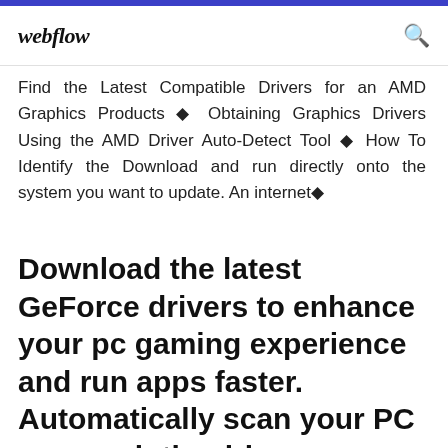webflow
Find the Latest Compatible Drivers for an AMD Graphics Products ◆ Obtaining Graphics Drivers Using the AMD Driver Auto-Detect Tool ◆ How To Identify the Download and run directly onto the system you want to update. An internet◆
Download the latest GeForce drivers to enhance your pc gaming experience and run apps faster. Automatically scan your PC or search the driver database